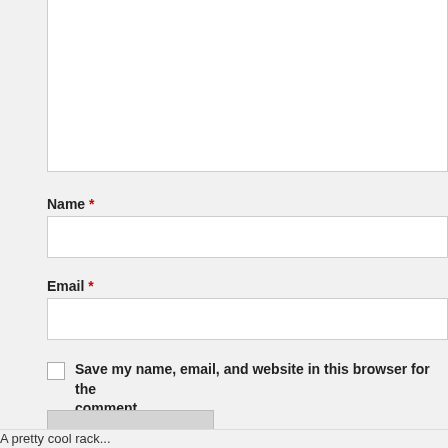Name *
Email *
Save my name, email, and website in this browser for the comment.
Post Comment
A pretty cool rack...